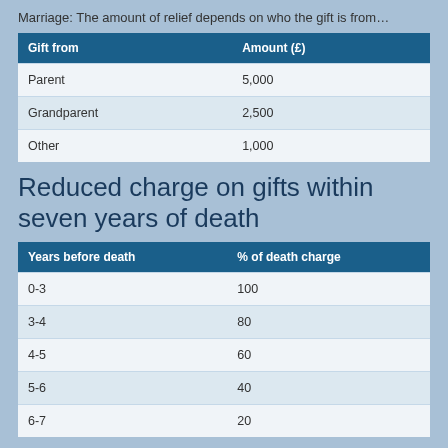Marriage: The amount of relief depends on who the gift is from…
| Gift from | Amount (£) |
| --- | --- |
| Parent | 5,000 |
| Grandparent | 2,500 |
| Other | 1,000 |
Reduced charge on gifts within seven years of death
| Years before death | % of death charge |
| --- | --- |
| 0-3 | 100 |
| 3-4 | 80 |
| 4-5 | 60 |
| 5-6 | 40 |
| 6-7 | 20 |